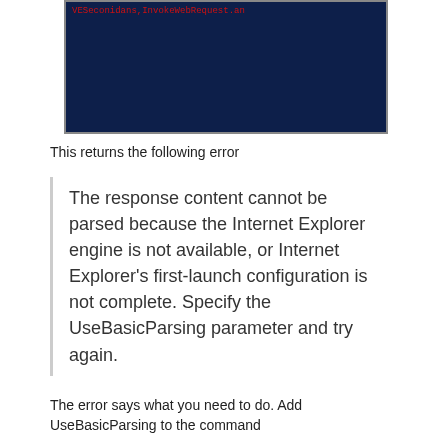[Figure (screenshot): Dark navy blue terminal/console screenshot with red error text at the top showing a URL or error string]
This returns the following error
The response content cannot be parsed because the Internet Explorer engine is not available, or Internet Explorer's first-launch configuration is not complete. Specify the UseBasicParsing parameter and try again.
The error says what you need to do. Add UseBasicParsing to the command
Invoke-WebRequest -Uri http://www.bing.com –UseBasicParsing